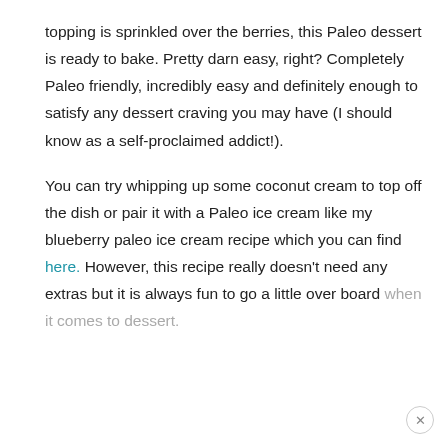topping is sprinkled over the berries, this Paleo dessert is ready to bake. Pretty darn easy, right? Completely Paleo friendly, incredibly easy and definitely enough to satisfy any dessert craving you may have (I should know as a self-proclaimed addict!).
You can try whipping up some coconut cream to top off the dish or pair it with a Paleo ice cream like my blueberry paleo ice cream recipe which you can find here. However, this recipe really doesn't need any extras but it is always fun to go a little over board when it comes to dessert.